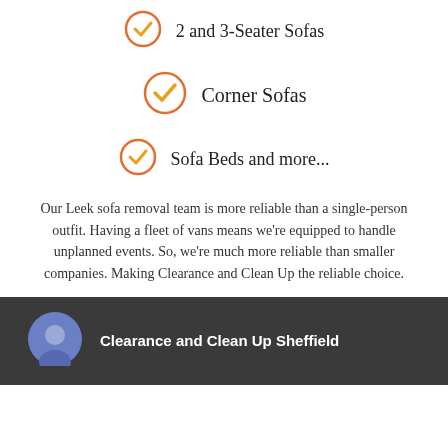2 and 3-Seater Sofas
Corner Sofas
Sofa Beds and more...
Our Leek sofa removal team is more reliable than a single-person outfit. Having a fleet of vans means we're equipped to handle unplanned events. So, we're much more reliable than smaller companies. Making Clearance and Clean Up the reliable choice.
Clearance and Clean Up Sheffield